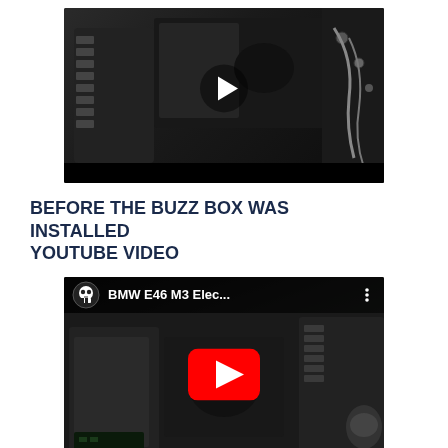[Figure (screenshot): Video thumbnail showing a car engine bay (BMW E46 M3) in dark tones with a white play button triangle in the center, before the Buzz Box installation.]
BEFORE THE BUZZ BOX WAS INSTALLED
YOUTUBE VIDEO
[Figure (screenshot): YouTube video thumbnail showing BMW E46 M3 engine bay with YouTube red play button, title reads 'BMW E46 M3 Elec...' with a skull logo (channel icon) in the upper left.]